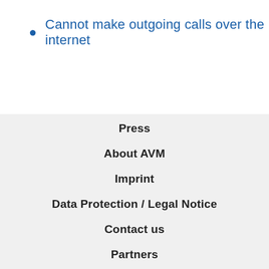Cannot make outgoing calls over the internet
Press
About AVM
Imprint
Data Protection / Legal Notice
Contact us
Partners